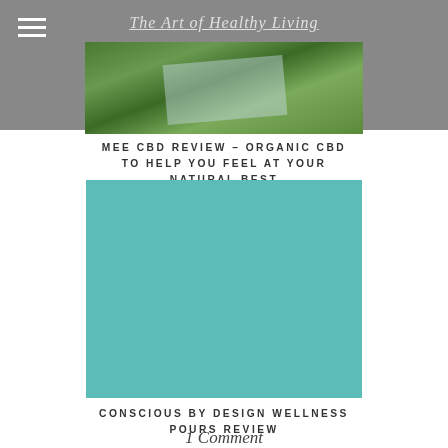The Art of Healthy Living
[Figure (photo): Photo of grass/nature background in the header area, partially visible]
MEE CBD REVIEW – ORGANIC CBD TO HELP YOU FEEL AT YOUR NATURAL BEST
[Figure (photo): Teal/turquoise colored image placeholder for the CBD article]
CONSCIOUS BY DESIGN WELLNESS POURS REVIEW
1 Comment